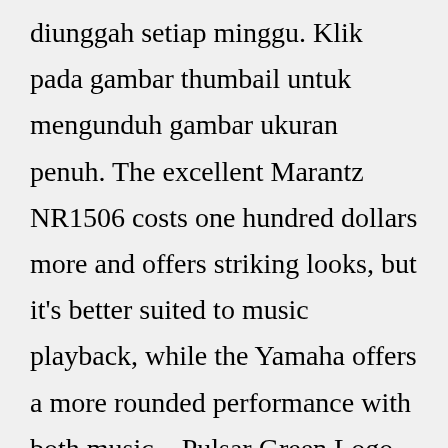diunggah setiap minggu. Klik pada gambar thumbail untuk mengunduh gambar ukuran penuh. The excellent Marantz NR1506 costs one hundred dollars more and offers striking looks, but it's better suited to music playback, while the Yamaha offers a more rounded performance with both music ...Pulsar Green Logo Double Sided Silicon Rubber Keychain key ring For Pulsar Bike £ 4.24 Add to cart; BSA Engine Gasket Set 500cc OHV A7 Star Twin 1951-54 A7...